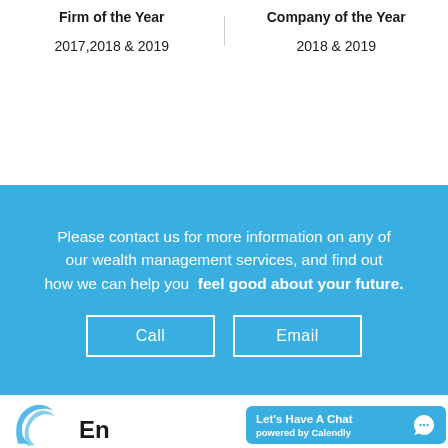Firm of the Year
2017,2018 & 2019
Company of the Year
2018 & 2019
Please contact us for more information on any of our wealth management services, and find out how we can help you feel good about your future.
Call
Email
[Figure (logo): Partial company logo with blue swirl graphic and company name starting with 'En']
Let's Have A Chat powered by Calendly